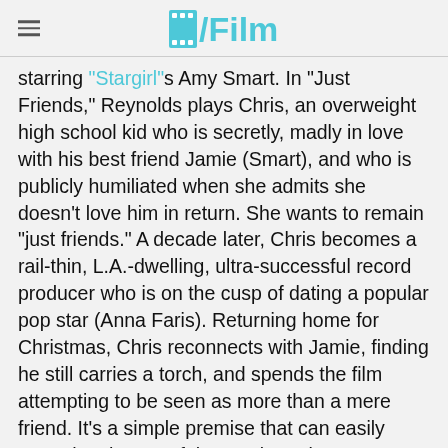/Film
starring "Stargirl"s Amy Smart. In "Just Friends," Reynolds plays Chris, an overweight high school kid who is secretly, madly in love with his best friend Jamie (Smart), and who is publicly humiliated when she admits she doesn't love him in return. She wants to remain "just friends." A decade later, Chris becomes a rail-thin, L.A.-dwelling, ultra-successful record producer who is on the cusp of dating a popular pop star (Anna Faris). Returning home for Christmas, Chris reconnects with Jamie, finding he still carries a torch, and spends the film attempting to be seen as more than a mere friend. It's a simple premise that can easily carry the charms of these talented actors.